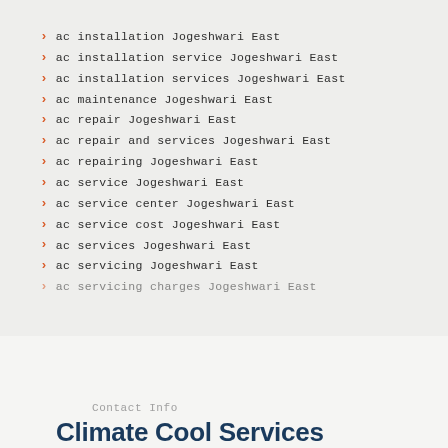ac installation Jogeshwari East
ac installation service Jogeshwari East
ac installation services Jogeshwari East
ac maintenance Jogeshwari East
ac repair Jogeshwari East
ac repair and services Jogeshwari East
ac repairing Jogeshwari East
ac service Jogeshwari East
ac service center Jogeshwari East
ac service cost Jogeshwari East
ac services Jogeshwari East
ac servicing Jogeshwari East
ac servicing charges Jogeshwari East
Contact Info
Climate Cool Services